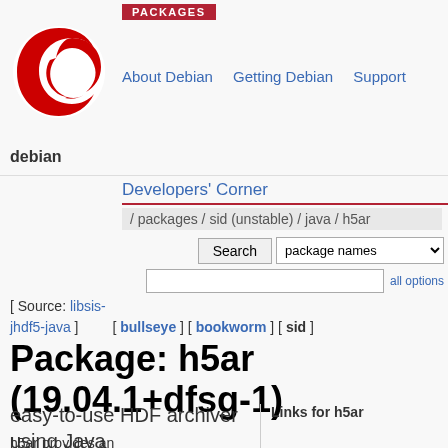PACKAGES
[Figure (logo): Debian swirl logo in red and white]
About Debian   Getting Debian   Support
debian
Developers' Corner
/ packages / sid (unstable) / java / h5ar
Search  [package names dropdown]  all options
[ Source: libsis-jhdf5-java ]  [ bullseye ] [ bookworm ] [ sid ]
Package: h5ar (19.04.1+dfsg-1)
easy-to-use HDF archiver using Java
Links for h5ar
h5ar provides an